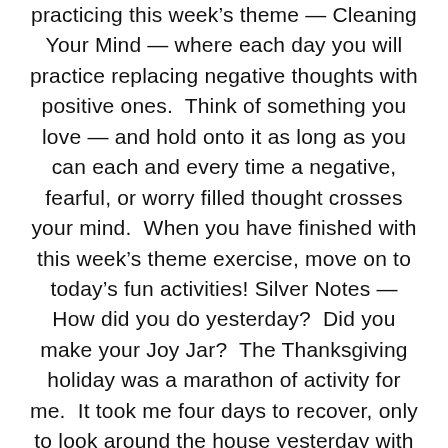practicing this week's theme — Cleaning Your Mind — where each day you will practice replacing negative thoughts with positive ones.  Think of something you love — and hold onto it as long as you can each and every time a negative, fearful, or worry filled thought crosses your mind.  When you have finished with this week's theme exercise, move on to today's fun activities! Silver Notes — How did you do yesterday?  Did you make your Joy Jar?  The Thanksgiving holiday was a marathon of activity for me.  It took me four days to recover, only to look around the house yesterday with eyes bugging out of my head at the mess (like my ignored laundry and the covered roasting pan sitting on the